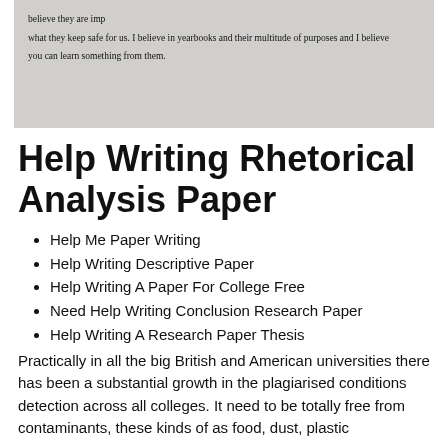[Figure (photo): Photograph of a printed page showing text about yearbooks and their purposes]
Help Writing Rhetorical Analysis Paper
Help Me Paper Writing
Help Writing Descriptive Paper
Help Writing A Paper For College Free
Need Help Writing Conclusion Research Paper
Help Writing A Research Paper Thesis
Practically in all the big British and American universities there has been a substantial growth in the plagiarised conditions detection across all colleges. It need to be totally free from contaminants, these kinds of as food, dust, plastic